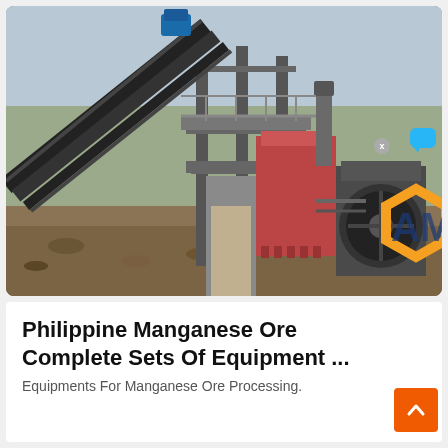[Figure (photo): Outdoor industrial manganese ore processing equipment with conveyor belts, steel frame structures, crushing machinery, and a blue 'Live Chat' speech bubble overlay in the upper-right area of the image. An orange and black watermark logo with letters 'AM' is visible at the bottom-right.]
Philippine Manganese Ore Complete Sets Of Equipment ...
Equipments For Manganese Ore Processing.